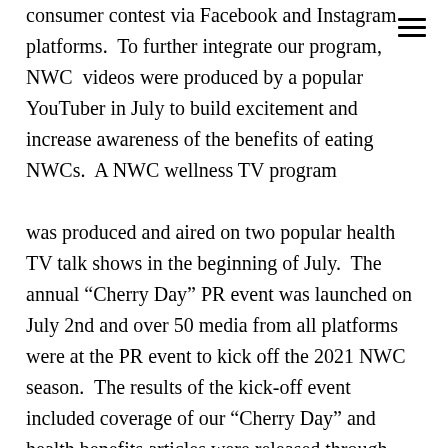consumer contest via Facebook and Instagram platforms.  To further integrate our program, NWC  videos were produced by a popular YouTuber in July to build excitement and increase awareness of the benefits of eating NWCs.  A NWC wellness TV program was produced and aired on two popular health TV talk shows in the beginning of July.  The annual “Cherry Day” PR event was launched on July 2nd and over 50 media from all platforms were at the PR event to kick off the 2021 NWC season.  The results of the kick-off event included coverage of our “Cherry Day” and health benefits articles were released through online programing channels, magazines, and social